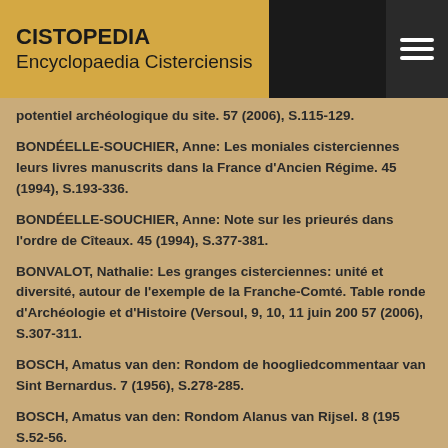CISTOPEDIA Encyclopaedia Cisterciensis
potentiel archéologique du site. 57 (2006), S.115-129.
BONDÉELLE-SOUCHIER, Anne: Les moniales cisterciennes leurs livres manuscrits dans la France d'Ancien Régime. 45 (1994), S.193-336.
BONDÉELLE-SOUCHIER, Anne: Note sur les prieurés dans l'ordre de Cîteaux. 45 (1994), S.377-381.
BONVALOT, Nathalie: Les granges cisterciennes: unité et diversité, autour de l'exemple de la Franche-Comté. Table ronde d'Archéologie et d'Histoire (Versoul, 9, 10, 11 juin 200 57 (2006), S.307-311.
BOSCH, Amatus van den: Rondom de hoogliedcommentaar van Sint Bernardus. 7 (1956), S.278-285.
BOSCH, Amatus van den: Rondom Alanus van Rijsel. 8 (195 S.52-56.